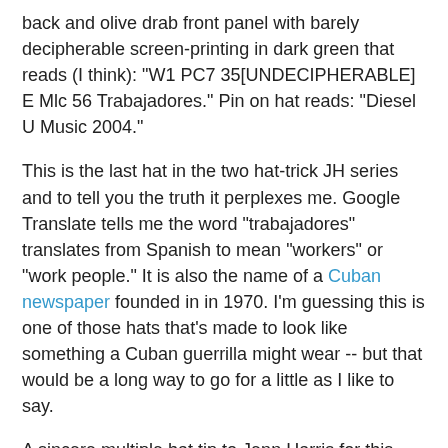back and olive drab front panel with barely decipherable screen-printing in dark green that reads (I think): "W1 PC7 35[UNDECIPHERABLE] E Mlc 56 Trabajadores." Pin on hat reads: "Diesel U Music 2004."
This is the last hat in the two hat-trick JH series and to tell you the truth it perplexes me. Google Translate tells me the word "trabajadores" translates from Spanish to mean "workers" or "work people." It is also the name of a Cuban newspaper founded in in 1970. I'm guessing this is one of those hats that's made to look like something a Cuban guerrilla might wear -- but that would be a long way to go for a little as I like to say.
A sincere multiple hat tip to Jenn Harris for this six-hat series -- and for ending it on a mysterious note. If she sheds any light on the provenance of the hat, I'll be sure to let you know.
Related:
PC 153: Ace Face
PC 152: Hat Vegas